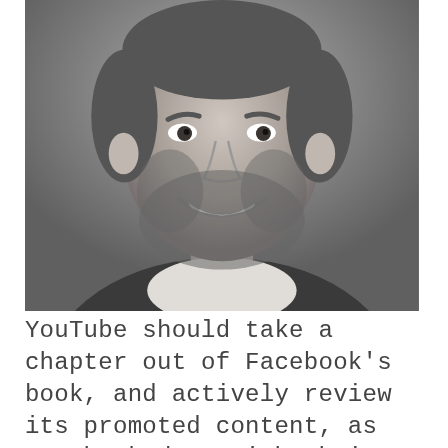[Figure (photo): Black and white portrait photo of a smiling bearded man in a suit jacket]
YouTube should take a chapter out of Facebook's book, and actively review its promoted content, as Facebook does with their ads. This and a clear definition of when that content is anti-Semitic
Your privacy is important to us. We will never sell your information. Cookies help us to provide you with more relevant content and web analytics for us. To learn more, please see our privacy policy  Ok